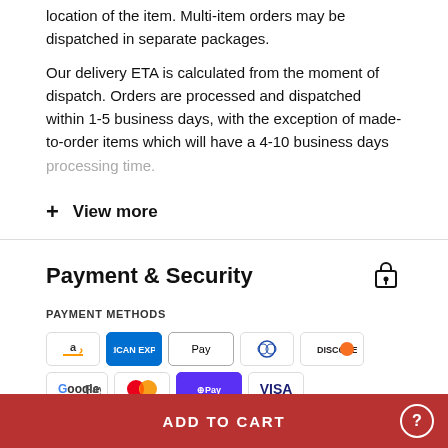location of the item. Multi-item orders may be dispatched in separate packages.
Our delivery ETA is calculated from the moment of dispatch. Orders are processed and dispatched within 1-5 business days, with the exception of made-to-order items which will have a 4-10 business days processing time.
+ View more
Payment & Security
PAYMENT METHODS
[Figure (infographic): Row of payment method logos: Amazon, American Express, Apple Pay, Diners Club, Discover, Google Pay, Mastercard, Shop Pay, Visa]
Your payment information is processed securely. We do not store credit